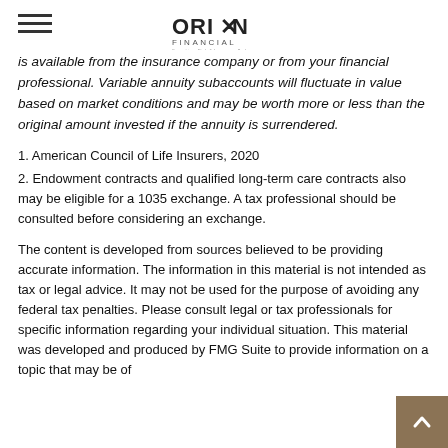ORION FINANCIAL
is available from the insurance company or from your financial professional. Variable annuity subaccounts will fluctuate in value based on market conditions and may be worth more or less than the original amount invested if the annuity is surrendered.
1. American Council of Life Insurers, 2020
2. Endowment contracts and qualified long-term care contracts also may be eligible for a 1035 exchange. A tax professional should be consulted before considering an exchange.
The content is developed from sources believed to be providing accurate information. The information in this material is not intended as tax or legal advice. It may not be used for the purpose of avoiding any federal tax penalties. Please consult legal or tax professionals for specific information regarding your individual situation. This material was developed and produced by FMG Suite to provide information on a topic that may be of